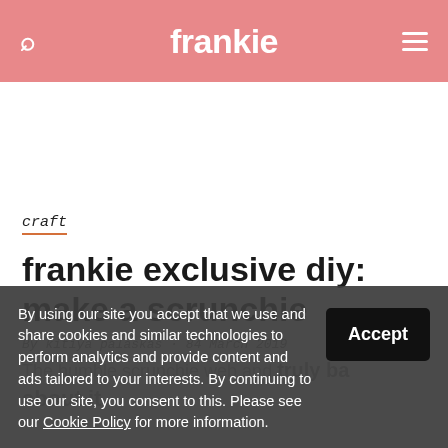frankie
craft
frankie exclusive diy: make a scrunchie
By kitiya palaskas · 84 March 2019
The humble scrunchie web and truly ba about it.
By using our site you accept that we use and share cookies and similar technologies to perform analytics and provide content and ads tailored to your interests. By continuing to use our site, you consent to this. Please see our Cookie Policy for more information.